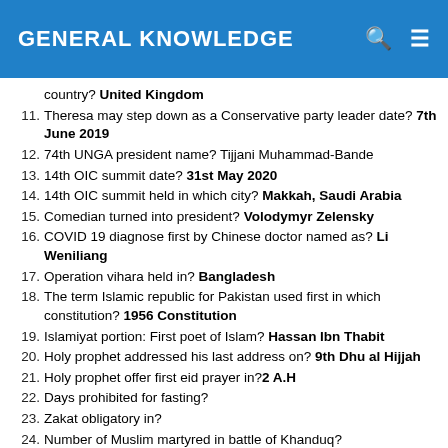GENERAL KNOWLEDGE
country? United Kingdom
11. Theresa may step down as a Conservative party leader date? 7th June 2019
12. 74th UNGA president name? Tijjani Muhammad-Bande
13. 14th OIC summit date? 31st May 2020
14. 14th OIC summit held in which city? Makkah, Saudi Arabia
15. Comedian turned into president? Volodymyr Zelensky
16. COVID 19 diagnose first by Chinese doctor named as? Li Weniliang
17. Operation vihara held in? Bangladesh
18. The term Islamic republic for Pakistan used first in which constitution? 1956 Constitution
19. Islamiyat portion: First poet of Islam? Hassan Ibn Thabit
20. Holy prophet addressed his last address on? 9th Dhu al Hijjah
21. Holy prophet offer first eid prayer in? 2 A.H
22. Days prohibited for fasting?
23. Zakat obligatory in?
24. Number of Muslim martyred in battle of Khanduq?